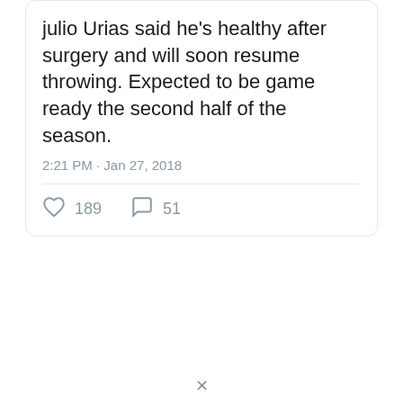Julio Urias said he's healthy after surgery and will soon resume throwing. Expected to be game ready the second half of the season.
2:21 PM · Jan 27, 2018
189 likes  51 comments